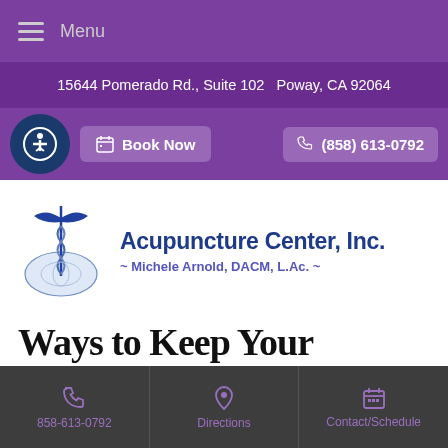Menu
15644 Pomerado Rd., Suite 102   Poway, CA 92064
Book Now   (858) 613-0792
[Figure (logo): Acupuncture Center Inc. logo with caduceus symbol and text: Acupuncture Center, Inc. ~ Michele Arnold, DACM, L.Ac. ~]
Ways to Keep Your Memory Sharp
858-613-0792   Directions   Contact/Schedule